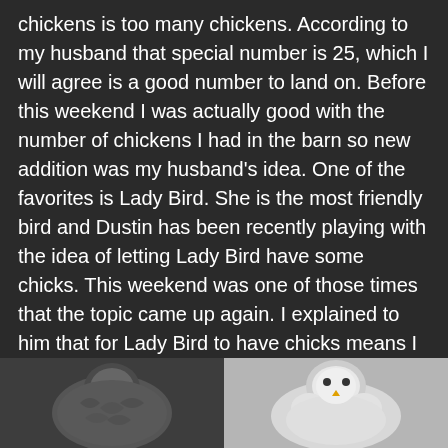chickens is too many chickens. According to my husband that special number is 25, which I will agree is a good number to land on. Before this weekend I was actually good with the number of chickens I had in the barn so new addition was my husband's idea. One of the favorites is Lady Bird. She is the most friendly bird and Dustin has been recently playing with the idea of letting Lady Bird have some chicks. This weekend was one of those times that the topic came up again. I explained to him that for Lady Bird to have chicks means I have to get some more chicks. The only roosters I have are Bob and Ringo. If Ringo is the father we won't have bantam sizes anymore and if Bob is the father... well... I am a little concerned what those chicks will look like.
[Figure (photo): Two photos side by side at the bottom. Left photo shows a dark/grey feathered chicken or bird. Right photo shows a white fluffy chicken or bird.]